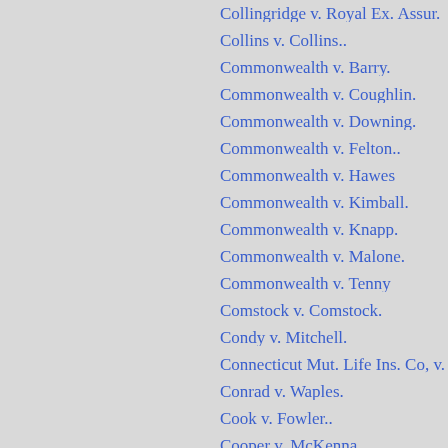Collingridge v. Royal Ex. Assur.
Collins v. Collins..
Commonwealth v. Barry.
Commonwealth v. Coughlin.
Commonwealth v. Downing.
Commonwealth v. Felton..
Commonwealth v. Hawes
Commonwealth v. Kimball.
Commonwealth v. Knapp.
Commonwealth v. Malone.
Commonwealth v. Tenny
Comstock v. Comstock.
Condy v. Mitchell.
Connecticut Mut. Life Ins. Co, v.
Conrad v. Waples.
Cook v. Fowler..
Cooper v. McKenna.
Corey v. Perry